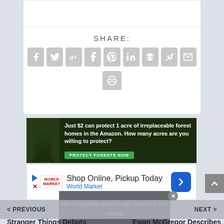SHARE:
[Figure (screenshot): Row of social media sharing icons: Facebook, Twitter, Google+, Tumblr, Pinterest, LinkedIn, Buffer, StumbleUpon, Email, and a Print icon below]
[Figure (illustration): Forest conservation ad: 'Just $2 can protect 1 acre of irreplaceable forest homes in the Amazon. How many acres are you willing to protect?' with a green PROTECT FORESTS NOW button and a bird/forest background]
[Figure (screenshot): Google ad: Shop Online, Pickup Today - World Market with blue diamond arrow icon]
[Figure (screenshot): Scroll to top arrow button (grey, upper right)]
No compatible source was found for this media.
< PREVIOUS
NEXT >
Stranger Things Debuts
Ewan McGregor Describes
[Figure (screenshot): Google ad: DN KN logo with checkmarks for Dine-in, Curbside pickup, Delivery and blue diamond arrow]